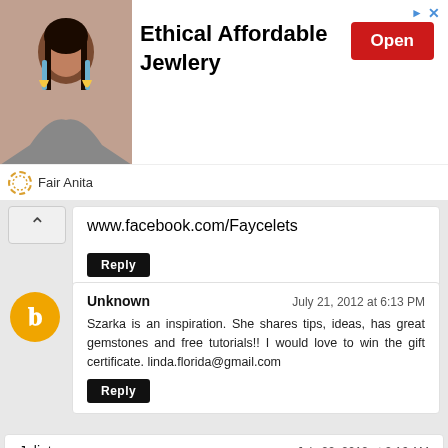[Figure (infographic): Advertisement banner for Fair Anita - Ethical Affordable Jewlery with photo of woman wearing earrings, Open button, and brand logo]
www.facebook.com/Faycelets
Reply
Unknown
July 21, 2012 at 6:13 PM
Szarka is an inspiration. She shares tips, ideas, has great gemstones and free tutorials!! I would love to win the gift certificate. linda.florida@gmail.com
Reply
Juliet
July 22, 2012 at 2:16 AM
What a wonderful way to show customer appreciation!! Please sign me up for the giveaway. Follow you on facebook. Posted giveaway too. TY
anitails@dishmail.net